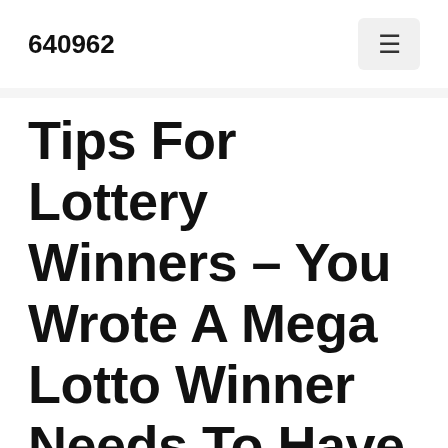640962
Tips For Lottery Winners – You Wrote A Mega Lotto Winner Needs To Have After Winning